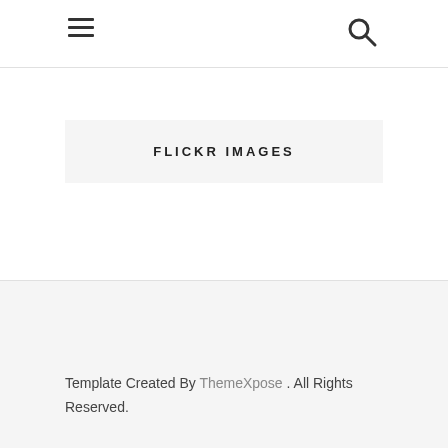≡  🔍
FLICKR IMAGES
Template Created By ThemeXpose . All Rights Reserved.